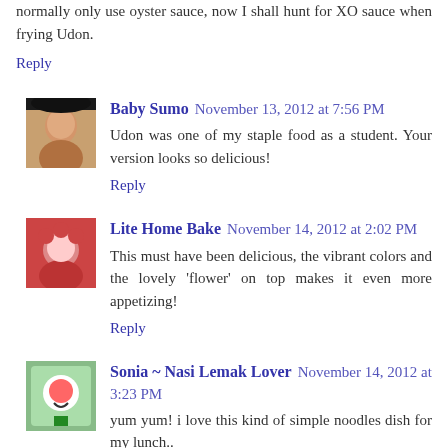normally only use oyster sauce, now I shall hunt for XO sauce when frying Udon.
Reply
Baby Sumo  November 13, 2012 at 7:56 PM
Udon was one of my staple food as a student. Your version looks so delicious!
Reply
Lite Home Bake  November 14, 2012 at 2:02 PM
This must have been delicious, the vibrant colors and the lovely 'flower' on top makes it even more appetizing!
Reply
Sonia ~ Nasi Lemak Lover  November 14, 2012 at 3:23 PM
yum yum! i love this kind of simple noodles dish for my lunch..
Reply